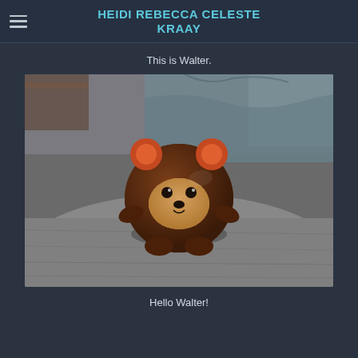HEIDI REBECCA CELESTE KRAAY
This is Walter.
[Figure (photo): A small brown bear toy/figurine sitting on a gray fabric surface. The bear has orange ears, a round brown body, a tan/cream face patch, and small black eyes and nose. The background shows a blurred bed with gray/teal bedding and a window.]
Hello Walter!